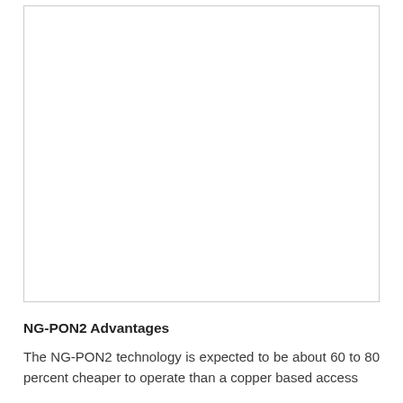[Figure (other): Large image or diagram placeholder occupying most of the upper portion of the page]
NG-PON2 Advantages
The NG-PON2 technology is expected to be about 60 to 80 percent cheaper to operate than a copper based access network, along with some other advantages: